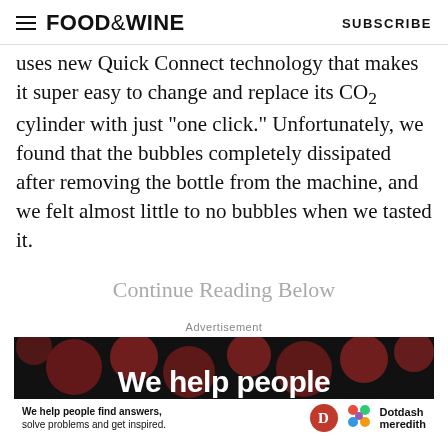FOOD&WINE  SUBSCRIBE
uses new Quick Connect technology that makes it super easy to change and replace its CO2 cylinder with just "one click." Unfortunately, we found that the bubbles completely dissipated after removing the bottle from the machine, and we felt almost little to no bubbles when we tasted it.
Continue Reading Below
Advertisement
[Figure (screenshot): Advertisement banner showing 'We help people' text with dark background and red dots, with bottom bar showing 'We help people find answers, solve problems and get inspired.' with Dotdash Meredith logo]